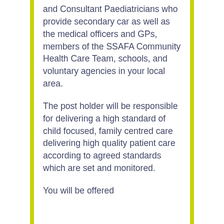and Consultant Paediatricians who provide secondary car as well as the medical officers and GPs, members of the SSAFA Community Health Care Team, schools, and voluntary agencies in your local area.
The post holder will be responsible for delivering a high standard of child focused, family centred care   delivering high quality patient care according to agreed standards which are set and monitored.
You will be offered